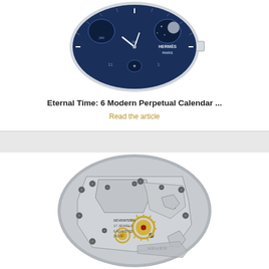[Figure (photo): Close-up of a Hermès Paris watch face with blue dial showing perpetual calendar complications, moon phase display, and white hour markers]
Eternal Time: 6 Modern Perpetual Calendar ...
Read the article
[Figure (photo): Close-up of a Heuer watch movement showing intricate mechanical gears, jewels, and bridges. Text on movement reads SEVENTEEN, 17 JEWELS, 5 ADJUSTED, with HEUER engraved on the rotor]